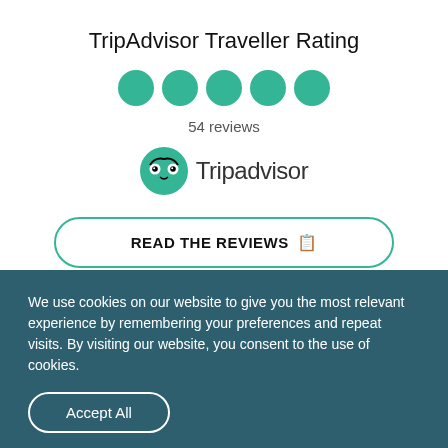TripAdvisor Traveller Rating
[Figure (other): Five green filled circle bubbles representing a 5-bubble TripAdvisor rating]
54 reviews
[Figure (logo): TripAdvisor logo: green owl-eye icon with text 'Tripadvisor']
READ THE REVIEWS
We use cookies on our website to give you the most relevant experience by remembering your preferences and repeat visits. By visiting our website, you consent to the use of cookies.
Accept All